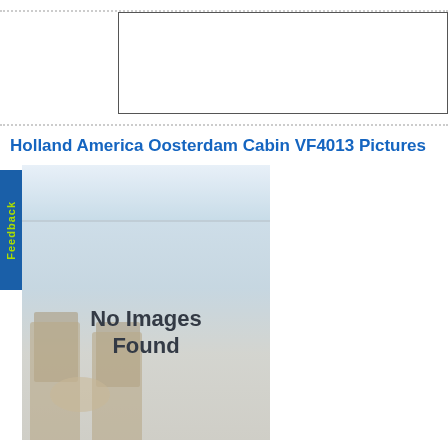Holland America Oosterdam Cabin VF4013 Pictures
[Figure (photo): Placeholder image showing a faded cruise ship balcony scene with deck chairs and a table, overlaid with text 'No Images Found']